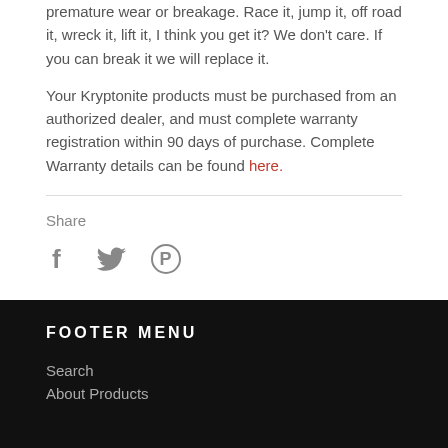premature wear or breakage. Race it, jump it, off road it, wreck it, lift it, I think you get it? We don't care. If you can break it we will replace it.
Your Kryptonite products must be purchased from an authorized dealer, and must complete warranty registration within 90 days of purchase. Complete Warranty details can be found here.
Share
[Figure (infographic): Social share icons: Facebook (f), Twitter (bird), Pinterest (P circle)]
FOOTER MENU
Search
About Products
Search